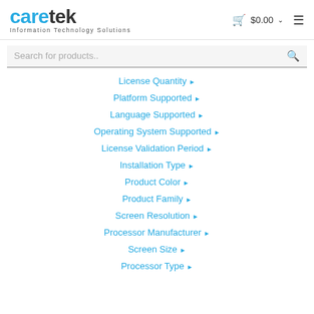caretek Information Technology Solutions | $0.00
Search for products..
License Quantity ►
Platform Supported ►
Language Supported ►
Operating System Supported ►
License Validation Period ►
Installation Type ►
Product Color ►
Product Family ►
Screen Resolution ►
Processor Manufacturer ►
Screen Size ►
Processor Type ►